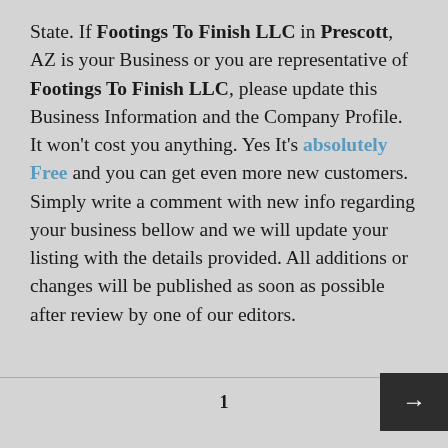State. If Footings To Finish LLC in Prescott, AZ is your Business or you are representative of Footings To Finish LLC, please update this Business Information and the Company Profile. It won't cost you anything. Yes It's absolutely Free and you can get even more new customers. Simply write a comment with new info regarding your business bellow and we will update your listing with the details provided. All additions or changes will be published as soon as possible after review by one of our editors.
1